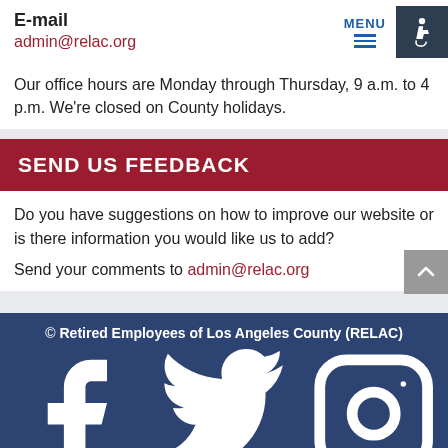E-mail
admin@relac.org
Our office hours are Monday through Thursday, 9 a.m. to 4 p.m. We're closed on County holidays.
SEND US FEEDBACK
Do you have suggestions on how to improve our website or is there information you would like us to add?
Send your comments to admin@relac.org
© Retired Employees of Los Angeles County (RELAC)